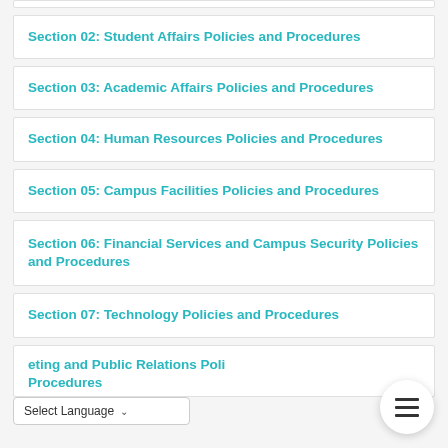Section 02: Student Affairs Policies and Procedures
Section 03: Academic Affairs Policies and Procedures
Section 04: Human Resources Policies and Procedures
Section 05: Campus Facilities Policies and Procedures
Section 06: Financial Services and Campus Security Policies and Procedures
Section 07: Technology Policies and Procedures
Section 08: Marketing and Public Relations Policies and Procedures